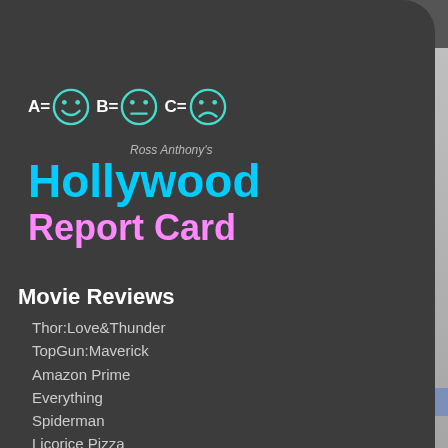[Figure (illustration): Rating key showing A= happy face smiley, B= neutral face, C= sad face in cyan/teal color with white text labels]
Ross Anthony's Hollywood Report Card
Movie Reviews
Thor:Love&Thunder
TopGun:Maverick
Amazon Prime
Everything
Spiderman
Licorice Pizza
Films A-Z
Live Events
Valley Song
Momentum Place
Hermosa Harmony Festival 2021
UnRavelled
Blues in the Night
Mesmerica